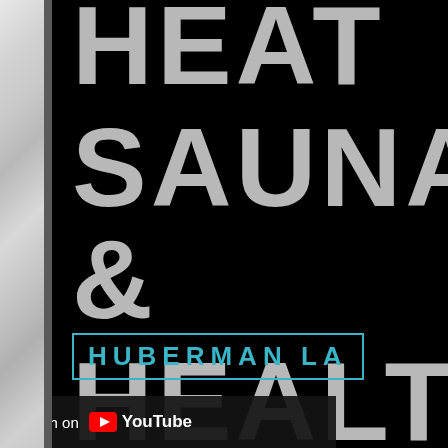[Figure (screenshot): YouTube video thumbnail for a Huberman Lab episode about Heat/Sauna and Health. Black background with large gray bold text reading 'HEAT', 'SAUNA [something]', 'HEALT[H]' (text cropped at right). A cyan-bordered box with 'HUBERMAN LA[B]' text is visible at bottom center. A marble/stone texture strip occupies the left edge. A 'Watch on YouTube' overlay appears at the bottom left.]